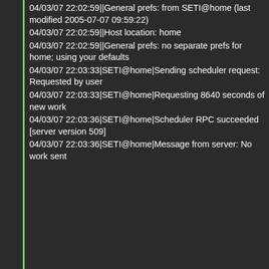04/03/07 22:02:59||General prefs: from SETI@home (last modified 2005-07-07 09:59:22)
04/03/07 22:02:59||Host location: home
04/03/07 22:02:59||General prefs: no separate prefs for home; using your defaults
04/03/07 22:03:33|SETI@home|Sending scheduler request: Requested by user
04/03/07 22:03:33|SETI@home|Requesting 8640 seconds of new work
04/03/07 22:03:36|SETI@home|Scheduler RPC succeeded [server version 509]
04/03/07 22:03:36|SETI@home|Message from server: No work sent